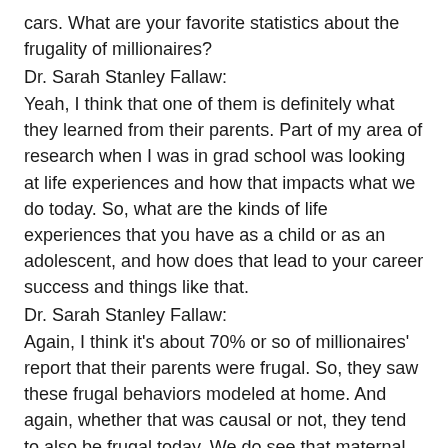cars. What are your favorite statistics about the frugality of millionaires?
Dr. Sarah Stanley Fallaw:
Yeah, I think that one of them is definitely what they learned from their parents. Part of my area of research when I was in grad school was looking at life experiences and how that impacts what we do today. So, what are the kinds of life experiences that you have as a child or as an adolescent, and how does that lead to your career success and things like that.
Dr. Sarah Stanley Fallaw:
Again, I think it's about 70% or so of millionaires' report that their parents were frugal. So, they saw these frugal behaviors modeled at home. And again, whether that was causal or not, they tend to also be frugal today. We do see that maternal frugality. So, if your mom was frugal that